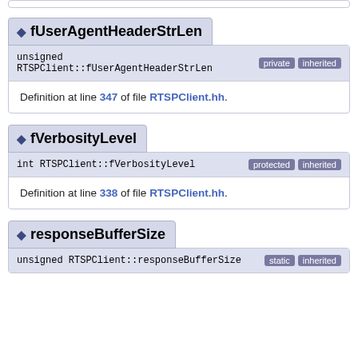fUserAgentHeaderStrLen
unsigned RTSPClient::fUserAgentHeaderStrLen [private] [inherited]
Definition at line 347 of file RTSPClient.hh.
fVerbosityLevel
int RTSPClient::fVerbosityLevel [protected] [inherited]
Definition at line 338 of file RTSPClient.hh.
responseBufferSize
unsigned RTSPClient::responseBufferSize [static] [inherited]